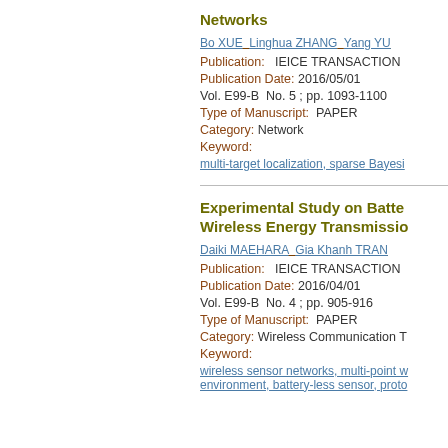Networks
Bo XUE  Linghua ZHANG  Yang YU
Publication:   IEICE TRANSACTIONS
Publication Date: 2016/05/01
Vol. E99-B  No. 5 ; pp. 1093-1100
Type of Manuscript:  PAPER
Category: Network
Keyword:
multi-target localization, sparse Bayesi
Experimental Study on Batte Wireless Energy Transmissio
Daiki MAEHARA  Gia Khanh TRAN
Publication:   IEICE TRANSACTIONS
Publication Date: 2016/04/01
Vol. E99-B  No. 4 ; pp. 905-916
Type of Manuscript:  PAPER
Category: Wireless Communication T
Keyword:
wireless sensor networks, multi-point w environment, battery-less sensor, proto